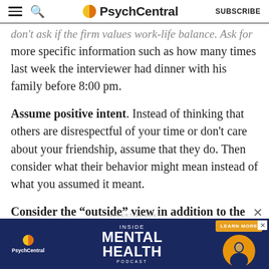PsychCentral SUBSCRIBE
don't ask if the firm values work-life balance. Ask for more specific information such as how many times last week the interviewer had dinner with his family before 8:00 pm.
Assume positive intent. Instead of thinking that others are disrespectful of your time or don't care about your friendship, assume that they do. Then consider what their behavior might mean instead of what you assumed it meant.
Consider the “outside” view in addition to the “inside” view. The inside view draws from your own impressions and assessments of the situation you are
[Figure (screenshot): PsychCentral advertisement banner for Inside Mental Health Podcast with dark blue background, orange circle logo, and Learn More button]